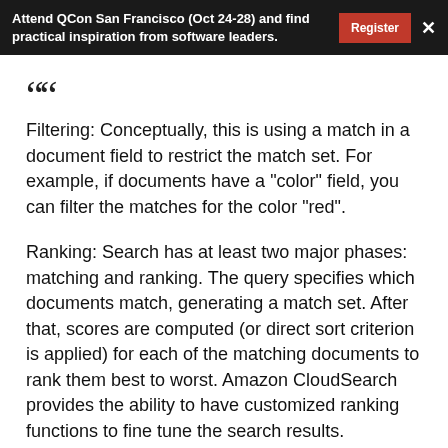Attend QCon San Francisco (Oct 24-28) and find practical inspiration from software leaders.
““
Filtering: Conceptually, this is using a match in a document field to restrict the match set. For example, if documents have a "color" field, you can filter the matches for the color "red".
Ranking: Search has at least two major phases: matching and ranking. The query specifies which documents match, generating a match set. After that, scores are computed (or direct sort criterion is applied) for each of the matching documents to rank them best to worst. Amazon CloudSearch provides the ability to have customized ranking functions to fine tune the search results.
Faceting: Faceting allows you to categorize your